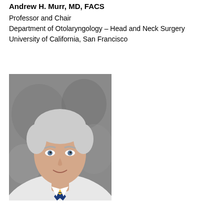Andrew H. Murr, MD, FACS
Professor and Chair
Department of Otolaryngology – Head and Neck Surgery
University of California, San Francisco
[Figure (photo): Professional headshot of Andrew H. Murr, MD, FACS. He is a middle-aged man with white/grey hair, wearing a white medical coat and a blue and gold striped tie, smiling at the camera against a grey background.]